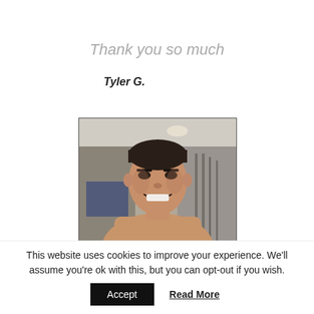Thank you so much
Tyler G.
[Figure (photo): A shirtless young man smiling in what appears to be a gym setting, taking a selfie or having his photo taken.]
This website uses cookies to improve your experience. We'll assume you're ok with this, but you can opt-out if you wish.
Accept
Read More